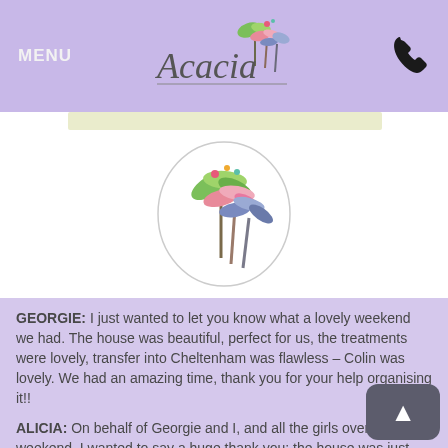MENU   Acacia   [phone icon]
[Figure (logo): Acacia logo with colorful palm trees (green, pink, blue) inside an oval circle]
GEORGIE: I just wanted to let you know what a lovely weekend we had. The house was beautiful, perfect for us, the treatments were lovely, transfer into Cheltenham was flawless – Colin was lovely. We had an amazing time, thank you for your help organising it!!
ALICIA: On behalf of Georgie and I, and all the girls over the weekend, I wanted to say a huge thank you; the house was just amazing, we all had such a wonderful time and the two beauticians were lovely, happy hens all round! Sadly I think we completely